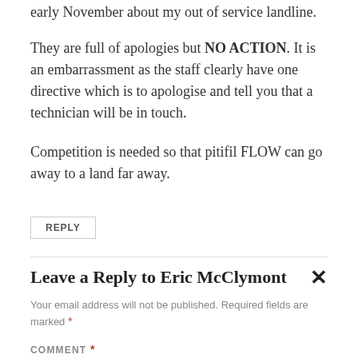early November about my out of service landline.
They are full of apologies but NO ACTION. It is an embarrassment as the staff clearly have one directive which is to apologise and tell you that a technician will be in touch.
Competition is needed so that pitifil FLOW can go away to a land far away.
REPLY
Leave a Reply to Eric McClymont
Your email address will not be published. Required fields are marked *
COMMENT *